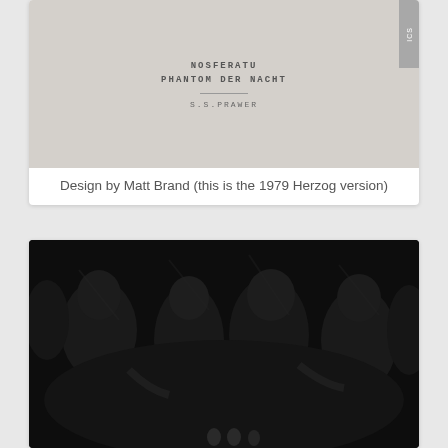[Figure (photo): Book cover for 'Nosferatu Phantom der Nacht' by S.S. Prawer, light gray background with text and a small decorative horizontal rule. A gray side tab appears on the upper right edge.]
Design by Matt Brand (this is the 1979 Herzog version)
[Figure (photo): Dark, nearly black image showing shadowy figures of people, very low contrast, dark tones throughout. Small light shapes (possibly skulls or faces) visible at the bottom center.]